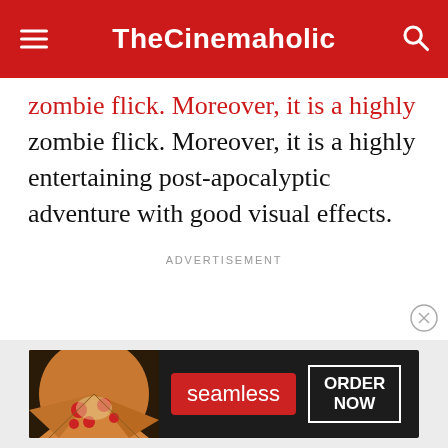TheCinemaholic
zombie flick. Moreover, it is a highly entertaining post-apocalyptic adventure with good visual effects.
ADVERTISEMENT
[Figure (other): Seamless food delivery advertisement banner showing pizza slices on the left, seamless logo in red center, and ORDER NOW text on the right with dark background]